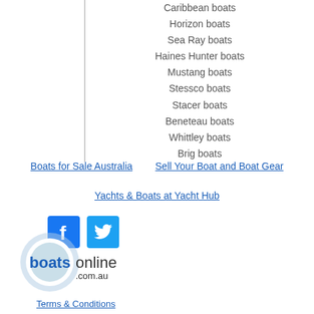Caribbean boats
Horizon boats
Sea Ray boats
Haines Hunter boats
Mustang boats
Stessco boats
Stacer boats
Beneteau boats
Whittley boats
Brig boats
Boats for Sale Australia | Sell Your Boat and Boat Gear
Yachts & Boats at Yacht Hub
[Figure (logo): Facebook logo icon (blue square with white F)]
[Figure (logo): Twitter logo icon (blue square with white bird)]
[Figure (logo): Boats Online .com.au logo with blue circle and text]
Terms & Conditions